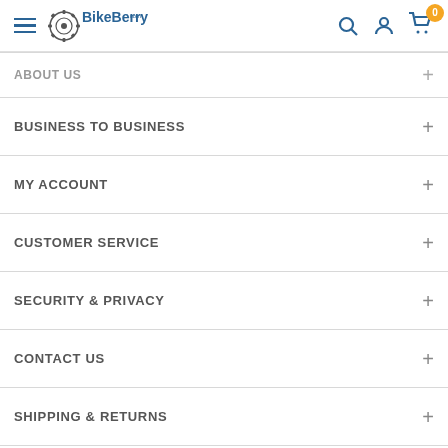[Figure (logo): BikeBerry.com logo with gear icon]
ABOUT US
BUSINESS TO BUSINESS
MY ACCOUNT
CUSTOMER SERVICE
SECURITY & PRIVACY
CONTACT US
SHIPPING & RETURNS